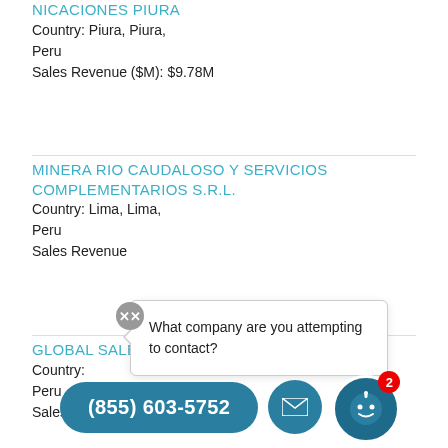NICACIONES PIURA
Country: Piura, Piura,
Peru
Sales Revenue ($M): $9.78M
MINERA RIO CAUDALOSO Y SERVICIOS COMPLEMENTARIOS S.R.L.
Country: Lima, Lima,
Peru
Sales Revenue ($M):
What company are you attempting to contact?
GLOBAL SALES SOLUTIONS LINE ANDINA S.A.
Country:
Peru
Sales Revenue ($M): $9.27M